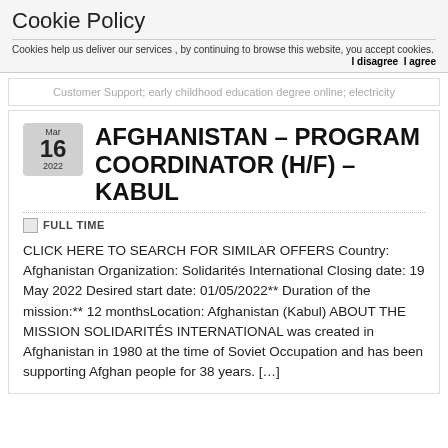Cookie Policy
Cookies help us deliver our services , by continuing to browse this website, you accept cookies.
I disagree  I agree
Customer Support; early childhood education degree online; electricity
AFGHANISTAN – PROGRAM COORDINATOR (H/F) – KABUL
Mar 16 2022
FULL TIME
CLICK HERE TO SEARCH FOR SIMILAR OFFERS Country: Afghanistan Organization: Solidarités International Closing date: 19 May 2022 Desired start date: 01/05/2022** Duration of the mission:** 12 monthsLocation: Afghanistan (Kabul) ABOUT THE MISSION SOLIDARITÉS INTERNATIONAL was created in Afghanistan in 1980 at the time of Soviet Occupation and has been supporting Afghan people for 38 years. […]